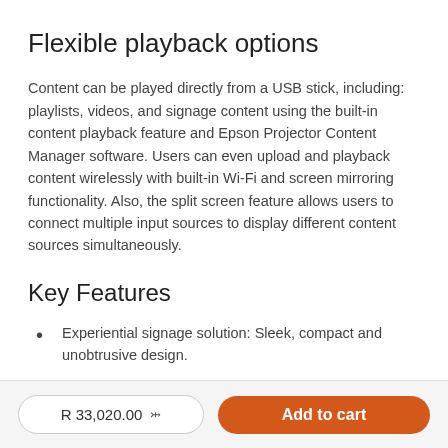Flexible playback options
Content can be played directly from a USB stick, including: playlists, videos, and signage content using the built-in content playback feature and Epson Projector Content Manager software. Users can even upload and playback content wirelessly with built-in Wi-Fi and screen mirroring functionality. Also, the split screen feature allows users to connect multiple input sources to display different content sources simultaneously.
Key Features
Experiential signage solution: Sleek, compact and unobtrusive design.
R 33,020.00  Add to cart